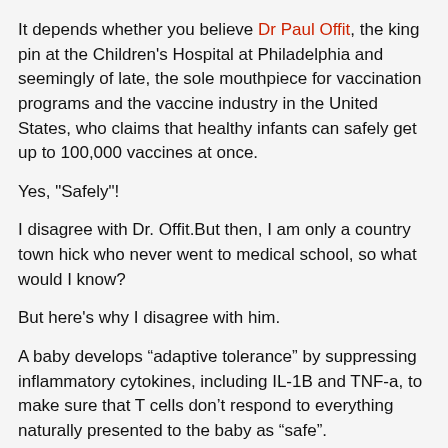It depends whether you believe Dr Paul Offit, the king pin at the Children's Hospital at Philadelphia and seemingly of late, the sole mouthpiece for vaccination programs and the vaccine industry in the United States, who claims that healthy infants can safely get up to 100,000 vaccines at once.
Yes, "Safely"!
I disagree with Dr. Offit.But then, I am only a country town hick who never went to medical school, so what would I know?
But here's why I disagree with him.
A baby develops “adaptive tolerance” by suppressing inflammatory cytokines, including IL-1B and TNF-a, to make sure that T cells don’t respond to everything naturally presented to the baby as “safe”.
IF a baby's immune system is developing along a specific pathway which is designed to SHUT DOWN INFLAMMATION,